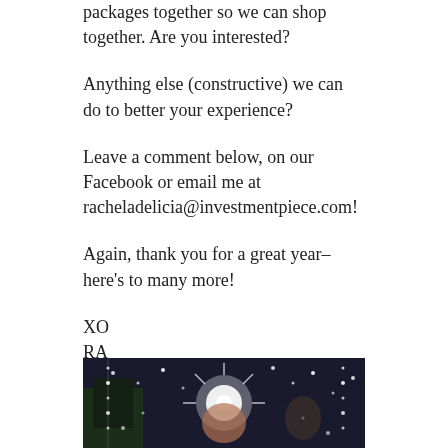packages together so we can shop together. Are you interested?
Anything else (constructive) we can do to better your experience?
Leave a comment below, on our Facebook or email me at racheladelicia@investmentpiece.com!
Again, thank you for a great year–here's to many more!
XO
RA
Some of my faves from this year:
[Figure (photo): A nighttime photo of a woman surrounded by sparkling lights]